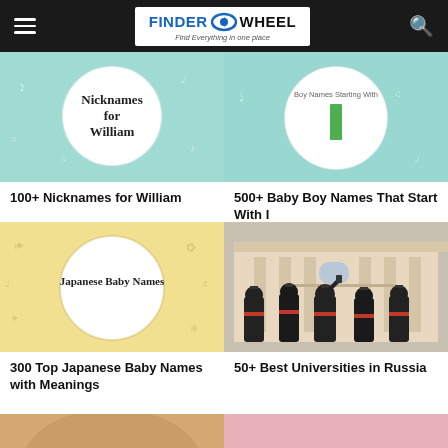FINDER WHEEL — Find Everything in one place
[Figure (illustration): Teal/mint background with white circle containing text 'Nicknames for William']
100+ Nicknames for William
[Figure (illustration): Teal/mint background with white circle, 'Boy Names Starting With' label and green bar (letter I)]
500+ Baby Boy Names That Start With I
[Figure (illustration): Yellow/cream background with white circle containing text 'Japanese Baby Names']
300 Top Japanese Baby Names with Meanings
[Figure (photo): Graduates in black gowns and caps from behind facing a classical building facade]
50+ Best Universities in Russia
[Figure (photo): Partial image at bottom left, warm tones]
[Figure (photo): Partial image at bottom right, pink tones]